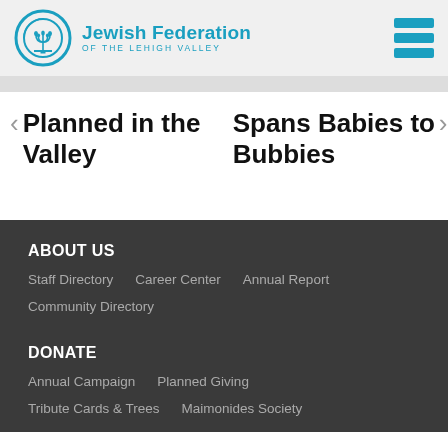Jewish Federation of the Lehigh Valley
Planned in the Valley   Spans Babies to Bubbies
ABOUT US
Staff Directory
Career Center
Annual Report
Community Directory
DONATE
Annual Campaign
Planned Giving
Tribute Cards & Trees
Maimonides Society